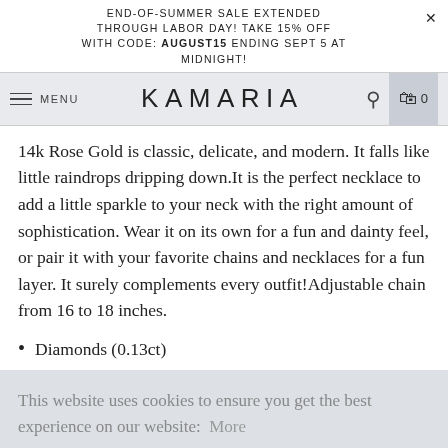END-OF-SUMMER SALE EXTENDED THROUGH LABOR DAY! TAKE 15% OFF WITH CODE: AUGUST15 ENDING SEPT 5 AT MIDNIGHT!
MENU  KAMARIA  [search] [bag] 0
14k Rose Gold is classic, delicate, and modern. It falls like little raindrops dripping down.It is the perfect necklace to add a little sparkle to your neck with the right amount of sophistication. Wear it on its own for a fun and dainty feel, or pair it with your favorite chains and necklaces for a fun layer. It surely complements every outfit!Adjustable chain from 16 to 18 inches.
Diamonds (0.13ct)
This website uses cookies to ensure you get the best experience on our website: More